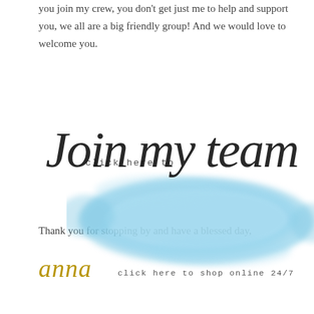you join my crew, you don't get just me to help and support you, we all are a big friendly group! And we would love to welcome you.
[Figure (illustration): Watercolor blue brush stroke background with cursive script text 'Join my team' overlaid, and 'click here to' in monospace text above]
Thank you for stopping by and have a blessed day,
Anna
click here to shop online 24/7